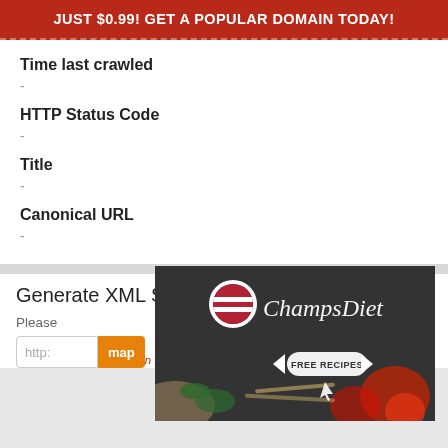JUST $0.99! GET A POPULAR DOMAIN TODAY!
Time last crawled
-
HTTP Status Code
-
Title
-
Canonical URL
-
Generate XML Sitemap Free
Please
http:
map
[Figure (photo): ChampsDiet advertisement banner with logo, food background (pasta, tomatoes, herbs), and FREE RECIPES call-to-action button]
Warning: Sitemap creation fails in all the testing